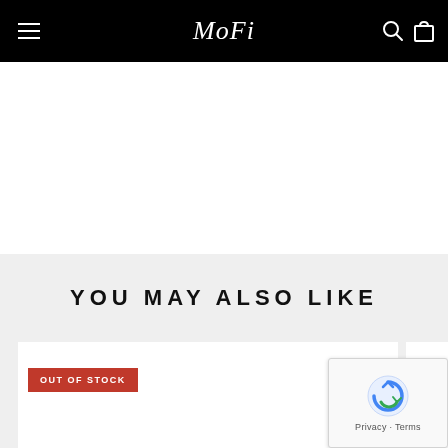MoFi
YOU MAY ALSO LIKE
OUT OF STOCK